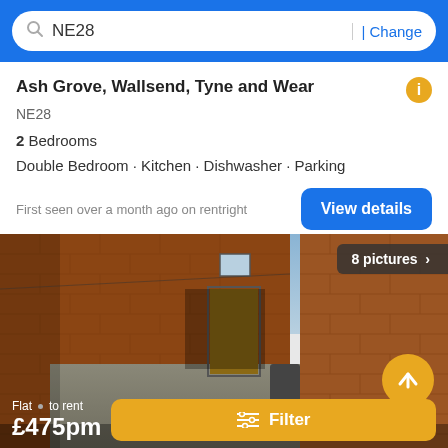NE28  | Change
Ash Grove, Wallsend, Tyne and Wear
NE28
2 Bedrooms
Double Bedroom · Kitchen · Dishwasher · Parking
First seen over a month ago on rentright
[Figure (photo): Photograph of a narrow brick alleyway with a wooden gate and brick walls, exterior of a residential property]
8 pictures >
Flat • to rent £475pm
Filter